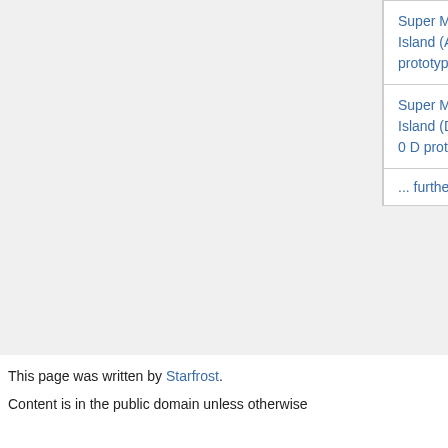| Game | System | Donor | ... |
| --- | --- | --- | --- |
| Super Mario World 2: Yoshi's Island (Aug 21, 1995 prototype) | SNES | Anonymous | ... |
| Super Mario World 2: Yoshi's Island (Dec 19, 1994 - ys rom 0 D prototype) | SNES | Anonymous | ... |
| ... further results |  |  |  |
This page was written by Starfrost.
Content is in the public domain unless otherwise